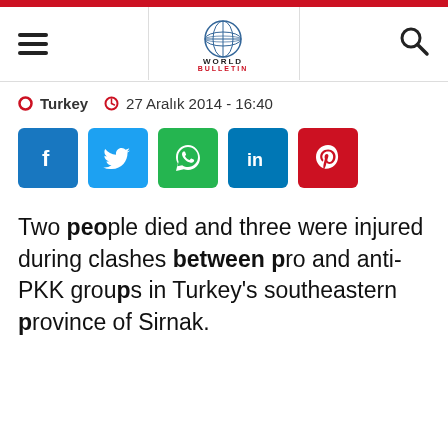World Bulletin — Turkey  27 Aralık 2014 - 16:40
[Figure (other): Social media share buttons: Facebook, Twitter, WhatsApp, LinkedIn, Pinterest]
Two people died and three were injured during clashes between pro and anti-PKK groups in Turkey's southeastern province of Sirnak.